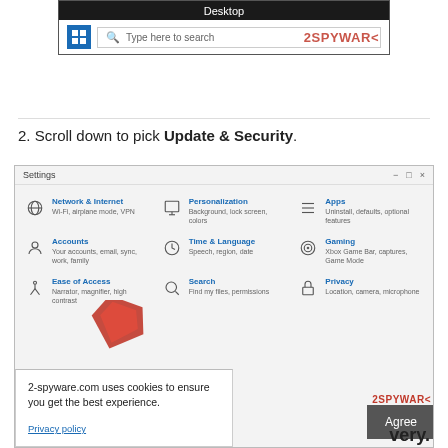[Figure (screenshot): Windows 10 taskbar showing Desktop label and search bar with '2SPYWARE' watermark]
2. Scroll down to pick Update & Security.
[Figure (screenshot): Windows 10 Settings window showing categories: Network & Internet, Personalization, Apps, Accounts, Time & Language, Gaming, Ease of Access, Search, Privacy. A red arrow points downward at the bottom. A cookie consent banner overlays the bottom: '2-spyware.com uses cookies to ensure you get the best experience.' with Privacy policy link and Agree button. 2SPYWARE watermark visible bottom-right.]
very.